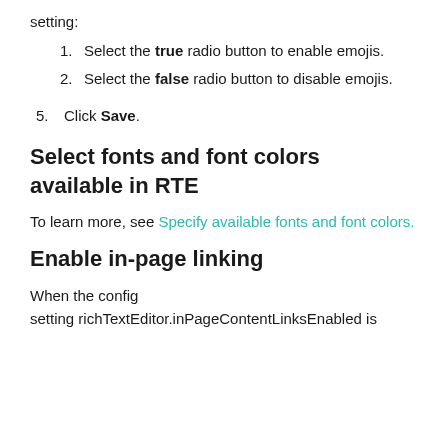setting:
1. Select the true radio button to enable emojis.
2. Select the false radio button to disable emojis.
5. Click Save.
Select fonts and font colors available in RTE
To learn more, see Specify available fonts and font colors.
Enable in-page linking
When the config setting richTextEditor.inPageContentLinksEnabled is